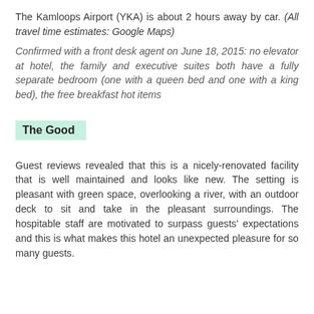The Kamloops Airport (YKA) is about 2 hours away by car. (All travel time estimates: Google Maps)
Confirmed with a front desk agent on June 18, 2015: no elevator at hotel, the family and executive suites both have a fully separate bedroom (one with a queen bed and one with a king bed), the free breakfast hot items
The Good
Guest reviews revealed that this is a nicely-renovated facility that is well maintained and looks like new. The setting is pleasant with green space, overlooking a river, with an outdoor deck to sit and take in the pleasant surroundings. The hospitable staff are motivated to surpass guests' expectations and this is what makes this hotel an unexpected pleasure for so many guests.